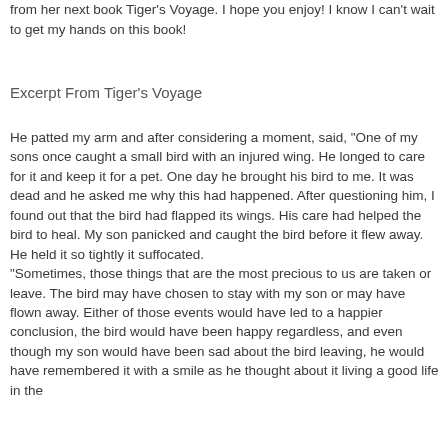from her next book Tiger's Voyage. I hope you enjoy! I know I can't wait to get my hands on this book!
Excerpt From Tiger's Voyage
He patted my arm and after considering a moment, said, "One of my sons once caught a small bird with an injured wing. He longed to care for it and keep it for a pet. One day he brought his bird to me. It was dead and he asked me why this had happened. After questioning him, I found out that the bird had flapped its wings. His care had helped the bird to heal. My son panicked and caught the bird before it flew away. He held it so tightly it suffocated.
"Sometimes, those things that are the most precious to us are taken or leave. The bird may have chosen to stay with my son or may have flown away. Either of those events would have led to a happier conclusion, the bird would have been happy regardless, and even though my son would have been sad about the bird leaving, he would have remembered it with a smile as he thought about it living a good life in the